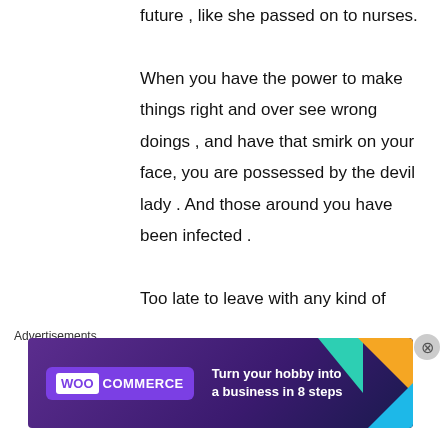future , like she passed on to nurses. When you have the power to make things right and over see wrong doings , and have that smirk on your face, you are possessed by the devil lady . And those around you have been infected . Too late to leave with any kind of integrity or 'service to the public" sword by those who have found
Advertisements
[Figure (other): WooCommerce advertisement banner: 'Turn your hobby into a business in 8 steps' with teal, orange, and blue decorative shapes on a dark purple background.]